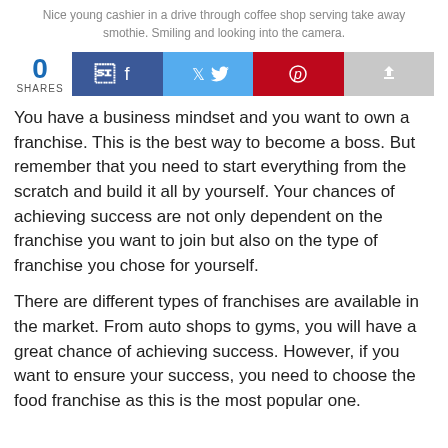Nice young cashier in a drive through coffee shop serving take away smothie. Smiling and looking into the camera.
[Figure (other): Social share bar with 0 shares count and four buttons: Facebook, Twitter, Pinterest, and a generic share button]
You have a business mindset and you want to own a franchise. This is the best way to become a boss. But remember that you need to start everything from the scratch and build it all by yourself. Your chances of achieving success are not only dependent on the franchise you want to join but also on the type of franchise you chose for yourself.
There are different types of franchises are available in the market. From auto shops to gyms, you will have a great chance of achieving success. However, if you want to ensure your success, you need to choose the food franchise as this is the most popular one.